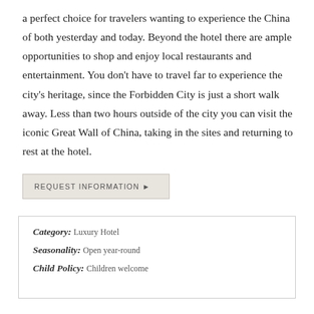a perfect choice for travelers wanting to experience the China of both yesterday and today. Beyond the hotel there are ample opportunities to shop and enjoy local restaurants and entertainment. You don't have to travel far to experience the city's heritage, since the Forbidden City is just a short walk away. Less than two hours outside of the city you can visit the iconic Great Wall of China, taking in the sites and returning to rest at the hotel.
REQUEST INFORMATION ▶
| Category: | Luxury Hotel |
| Seasonality: | Open year-round |
| Child Policy: | Children welcome |